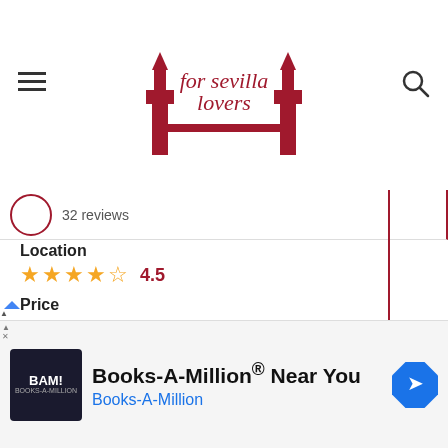for sevilla lovers — website header with hamburger menu and search icon
32 reviews
Location 4.5
Price 4.9
Class 4.9
Facilities 4.9
Teachers 4.9
HOW TO GET
TO CALL
Books-A-Million® Near You — Books-A-Million (advertisement)